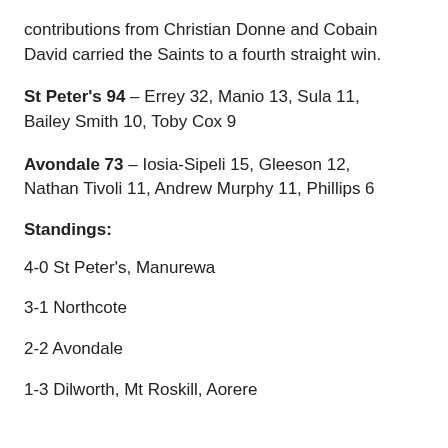contributions from Christian Donne and Cobain David carried the Saints to a fourth straight win.
St Peter's 94 – Errey 32, Manio 13, Sula 11, Bailey Smith 10, Toby Cox 9
Avondale 73 – Iosia-Sipeli 15, Gleeson 12, Nathan Tivoli 11, Andrew Murphy 11, Phillips 6
Standings:
4-0 St Peter's, Manurewa
3-1 Northcote
2-2 Avondale
1-3 Dilworth, Mt Roskill, Aorere